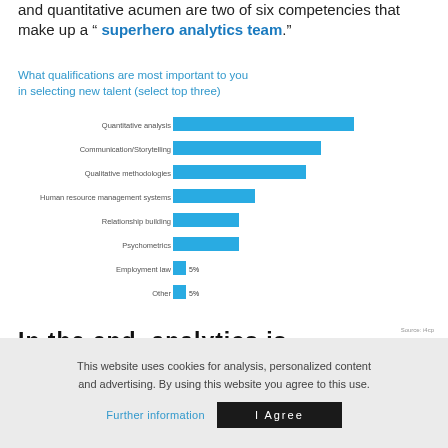and quantitative acumen are two of six competencies that make up a “ superhero analytics team.”
What qualifications are most important to you in selecting new talent (select top three)
[Figure (bar-chart): What qualifications are most important to you in selecting new talent (select top three)]
Source: i4cp
In the end, analytics is about insights and impact.
So, the question is, does investment in analytics
This website uses cookies for analysis, personalized content and advertising. By using this website you agree to this use.